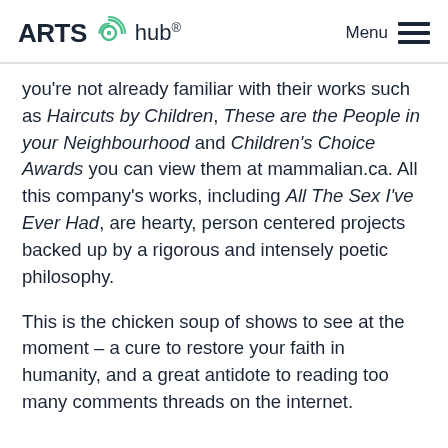ARTS hub® Menu
you're not already familiar with their works such as Haircuts by Children, These are the People in your Neighbourhood and Children's Choice Awards you can view them at mammalian.ca. All this company's works, including All The Sex I've Ever Had, are hearty, person centered projects backed up by a rigorous and intensely poetic philosophy.
This is the chicken soup of shows to see at the moment – a cure to restore your faith in humanity, and a great antidote to reading too many comments threads on the internet.